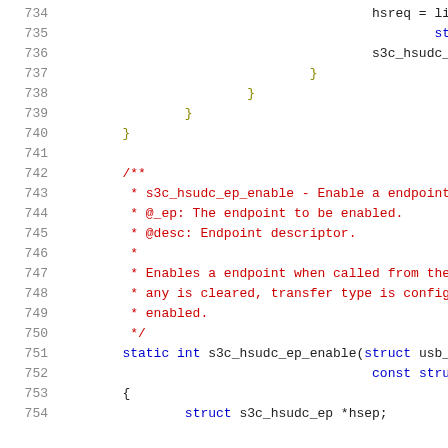Source code listing lines 734-754, showing C kernel/driver code with syntax highlighting. Lines 734-740 show closing braces of a function involving hsreq = list_en... struct... s3c_hsudc_read_... Lines 742-750 show a kernel doc comment block for s3c_hsudc_ep_enable. Lines 751-754 show the function signature and opening brace with struct s3c_hsudc_ep *hsep;